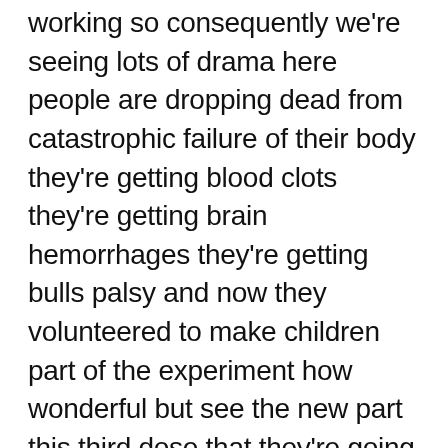working so consequently we're seeing lots of drama here people are dropping dead from catastrophic failure of their body they're getting blood clots they're getting brain hemorrhages they're getting bulls palsy and now they volunteered to make children part of the experiment how wonderful but see the new part this third dose that they're going for children with is doing the same thing that the adults are given but it's also got one extra thing in it it's called sterilization for men fertilization for girls so boys are sterilized and women are made in fertile this is what the shots goal is they want to decrease human population and I guess if we don't want to treat human beings with the intelligence to control the resources of the earth they want to hold everything to listen ad believe their unique